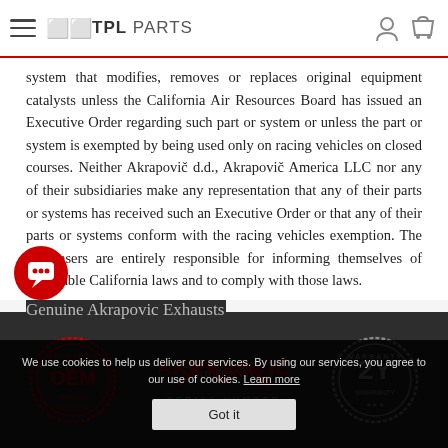TPL PARTS
system that modifies, removes or replaces original equipment catalysts unless the California Air Resources Board has issued an Executive Order regarding such part or system or unless the part or system is exempted by being used only on racing vehicles on closed courses. Neither Akrapovič d.d., Akrapovič America LLC nor any of their subsidiaries make any representation that any of their parts or systems has received such an Executive Order or that any of their parts or systems conform with the racing vehicles exemption. The purchasers are entirely responsible for informing themselves of applicable California laws and to comply with those laws.
[Figure (logo): Akrapovic logo with Original and Warranty seals, serial number label]
Genuine Akrapovic Exhausts
We use cookies to help us deliver our services. By using our services, you agree to our use of cookies. Learn more
Got it